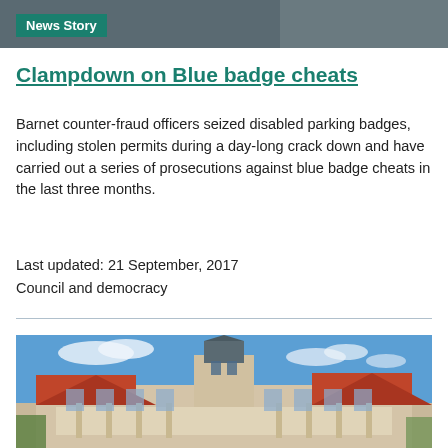News Story
Clampdown on Blue badge cheats
Barnet counter-fraud officers seized disabled parking badges, including stolen permits during a day-long crack down and have carried out a series of prosecutions against blue badge cheats in the last three months.
Last updated: 21 September, 2017
Council and democracy
[Figure (photo): Photograph of a large historic brick building with a tower/cupola, under a blue sky with white clouds — likely a council or civic building in Barnet.]